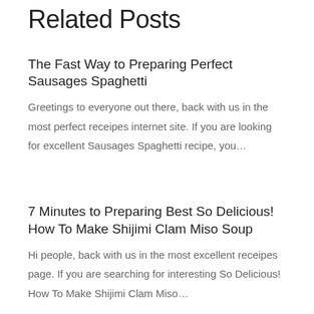Related Posts
The Fast Way to Preparing Perfect Sausages Spaghetti
Greetings to everyone out there, back with us in the most perfect receipes internet site. If you are looking for excellent Sausages Spaghetti recipe, you…
7 Minutes to Preparing Best So Delicious! How To Make Shijimi Clam Miso Soup
Hi people, back with us in the most excellent receipes page. If you are searching for interesting So Delicious! How To Make Shijimi Clam Miso…
Ten Minutes to Cooking Tasty Sticky Asian